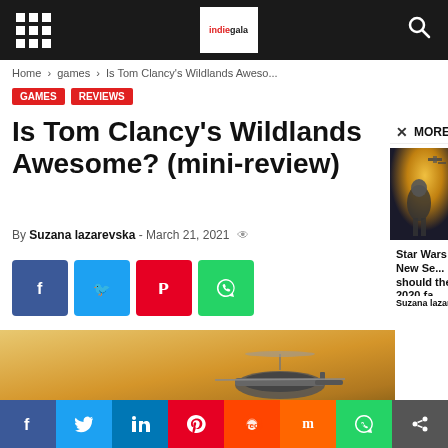indiegala navigation bar
Home › games › Is Tom Clancy's Wildlands Aweso...
GAMES  REVIEWS
Is Tom Clancy's Wildlands Awesome? (mini-review)
By Suzana lazarevska - March 21, 2021
[Figure (screenshot): Social share buttons: Facebook, Twitter, Pinterest, WhatsApp]
[Figure (photo): Tom Clancy's Ghost Recon Wildlands game cover image with helicopter and logo]
MORE STORIES
[Figure (photo): Star Wars scene with Mandalorian and robots]
Star Wars New Se... should the 2020 fa...
Suzana lazarevska - July 24,
Social sharing bar: Facebook, Twitter, LinkedIn, Pinterest, Reddit, Mix, WhatsApp, Share